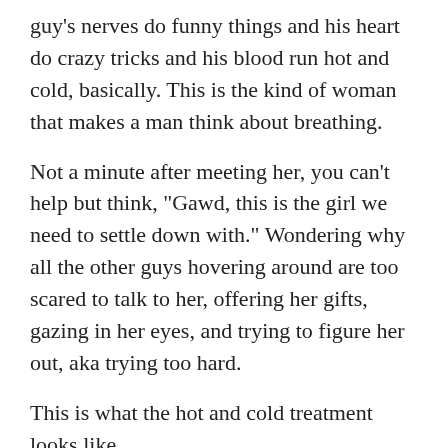guy's nerves do funny things and his heart do crazy tricks and his blood run hot and cold, basically. This is the kind of woman that makes a man think about breathing.
Not a minute after meeting her, you can't help but think, "Gawd, this is the girl we need to settle down with." Wondering why all the other guys hovering around are too scared to talk to her, offering her gifts, gazing in her eyes, and trying to figure her out, aka trying too hard.
This is what the hot and cold treatment looks like.     But being bad is so much more fun to a man than being sweet, so you will get far better results if you just be straight up and tell him how you feel instead of playing around and beating around the bush.